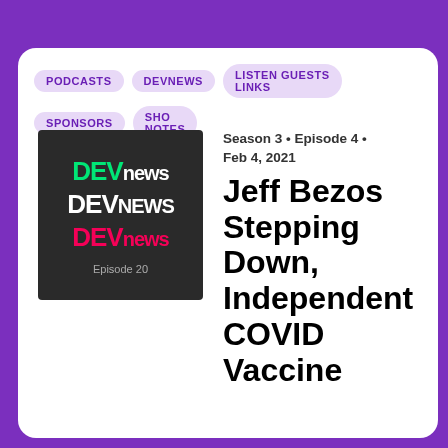PODCASTS | DEVNEWS | LISTEN GUESTS LINKS | SPONSORS | SHOW NOTES
[Figure (logo): DEVnews podcast logo with three rows of DEVnews text in green, white, and pink on dark background, with Episode 20 label]
Season 3 • Episode 4 • Feb 4, 2021
Jeff Bezos Stepping Down, Independent COVID Vaccine